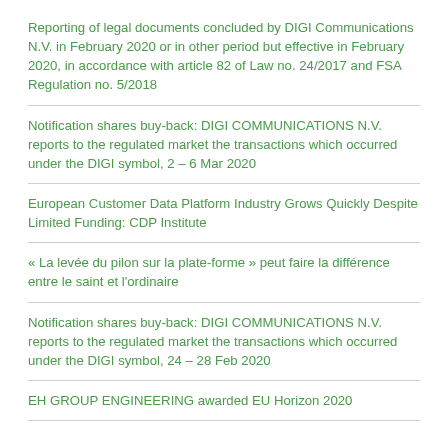Reporting of legal documents concluded by DIGI Communications N.V. in February 2020 or in other period but effective in February 2020, in accordance with article 82 of Law no. 24/2017 and FSA Regulation no. 5/2018
Notification shares buy-back: DIGI COMMUNICATIONS N.V. reports to the regulated market the transactions which occurred under the DIGI symbol, 2 – 6 Mar 2020
European Customer Data Platform Industry Grows Quickly Despite Limited Funding: CDP Institute
« La levée du pilon sur la plate-forme » peut faire la différence entre le saint et l'ordinaire
Notification shares buy-back: DIGI COMMUNICATIONS N.V. reports to the regulated market the transactions which occurred under the DIGI symbol, 24 – 28 Feb 2020
EH GROUP ENGINEERING awarded EU Horizon 2020